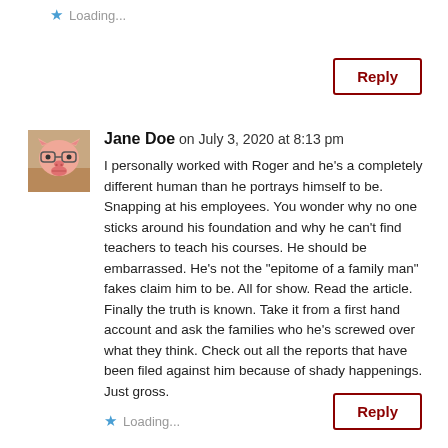⭐ Loading...
Reply
Jane Doe on July 3, 2020 at 8:13 pm
I personally worked with Roger and he’s a completely different human than he portrays himself to be. Snapping at his employees. You wonder why no one sticks around his foundation and why he can’t find teachers to teach his courses. He should be embarrassed. He’s not the “epitome of a family man” fakes claim him to be. All for show. Read the article. Finally the truth is known. Take it from a first hand account and ask the families who he’s screwed over what they think. Check out all the reports that have been filed against him because of shady happenings. Just gross.
★ Loading...
Reply